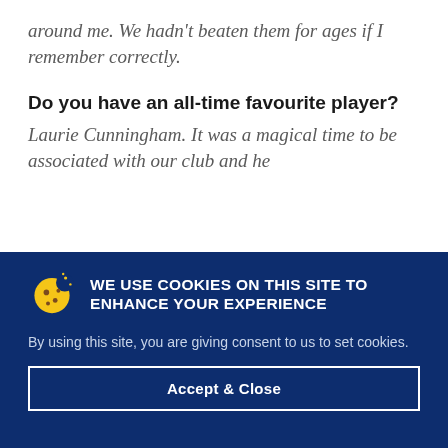around me. We hadn't beaten them for ages if I remember correctly.
Do you have an all-time favourite player? Laurie Cunningham. It was a magical time to be associated with our club and he
WE USE COOKIES ON THIS SITE TO ENHANCE YOUR EXPERIENCE
By using this site, you are giving consent to us to set cookies.
Accept & Close